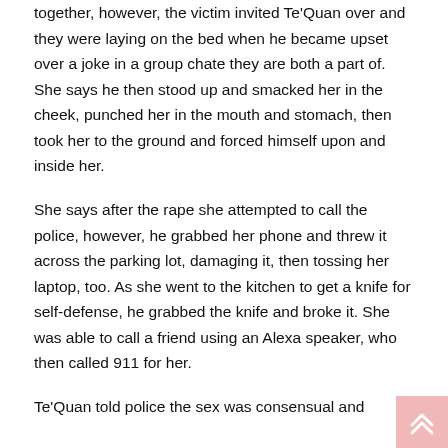together, however, the victim invited Te'Quan over and they were laying on the bed when he became upset over a joke in a group chate they are both a part of. She says he then stood up and smacked her in the cheek, punched her in the mouth and stomach, then took her to the ground and forced himself upon and inside her.
She says after the rape she attempted to call the police, however, he grabbed her phone and threw it across the parking lot, damaging it, then tossing her laptop, too. As she went to the kitchen to get a knife for self-defense, he grabbed the knife and broke it. She was able to call a friend using an Alexa speaker, who then called 911 for her.
Te'Quan told police the sex was consensual and